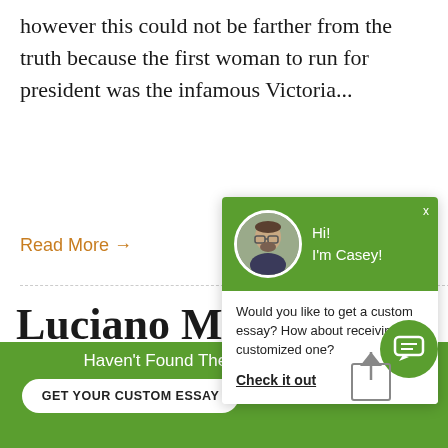however this could not be farther from the truth because the first woman to run for president was the infamous Victoria...
Read More →
Luciano M Masculine Roles in
Artists
[Figure (screenshot): Chat popup widget with green header showing avatar of Casey, greeting text 'Hi! I'm Casey!', and message 'Would you like to get a custom essay? How about receiving a customized one?' with 'Check it out' link]
[Figure (screenshot): Green circular chat button icon at bottom right]
Haven't Found The Essay You Want?
GET YOUR CUSTOM ESSAY
For Only $13.90/page